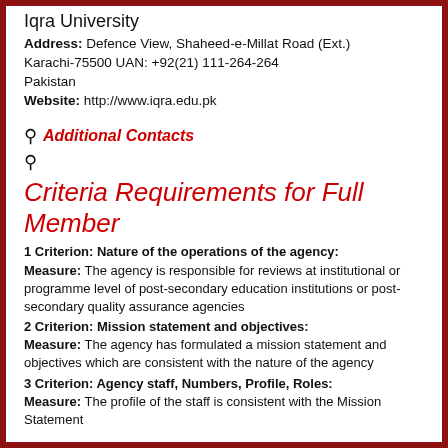Iqra University
Address: Defence View, Shaheed-e-Millat Road (Ext.) Karachi-75500 UAN: +92(21) 111-264-264 Pakistan
Website: http://www.iqra.edu.pk
Additional Contacts
Criteria Requirements for Full Member
1 Criterion: Nature of the operations of the agency: Measure: The agency is responsible for reviews at institutional or programme level of post-secondary education institutions or post-secondary quality assurance agencies
2 Criterion: Mission statement and objectives: Measure: The agency has formulated a mission statement and objectives which are consistent with the nature of the agency
3 Criterion: Agency staff, Numbers, Profile, Roles: Measure: The profile of the staff is consistent with the Mission Statement